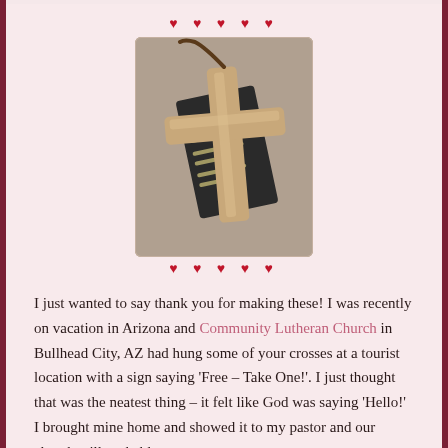[Figure (photo): A wooden cross necklace resting on a dark background with text, photographed at an angle]
I just wanted to say thank you for making these! I was recently on vacation in Arizona and Community Lutheran Church in Bullhead City, AZ had hung some of your crosses at a tourist location with a sign saying ‘Free – Take One!’. I just thought that was the neatest thing – it felt like God was saying ‘Hello!’ I brought mine home and showed it to my pastor and our church will probably